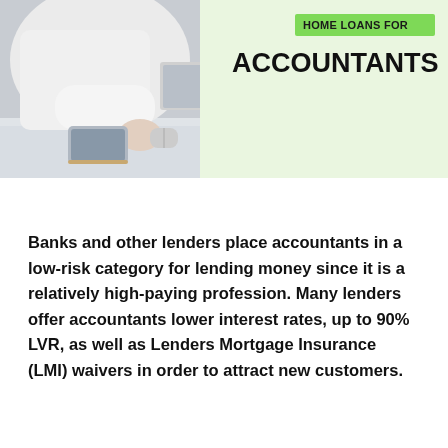[Figure (photo): Person in white clothing using a computer mouse at a desk with a tablet nearby, set against a light mint/green background on the right side]
HOME LOANS FOR ACCOUNTANTS
Banks and other lenders place accountants in a low-risk category for lending money since it is a relatively high-paying profession. Many lenders offer accountants lower interest rates, up to 90% LVR, as well as Lenders Mortgage Insurance (LMI) waivers in order to attract new customers.